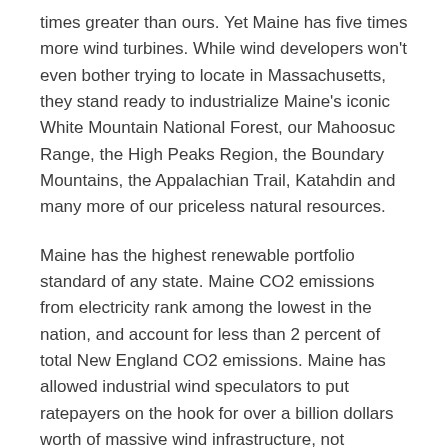times greater than ours. Yet Maine has five times more wind turbines. While wind developers won't even bother trying to locate in Massachusetts, they stand ready to industrialize Maine's iconic White Mountain National Forest, our Mahoosuc Range, the High Peaks Region, the Boundary Mountains, the Appalachian Trail, Katahdin and many more of our priceless natural resources.
Maine has the highest renewable portfolio standard of any state. Maine CO2 emissions from electricity rank among the lowest in the nation, and account for less than 2 percent of total New England CO2 emissions. Maine has allowed industrial wind speculators to put ratepayers on the hook for over a billion dollars worth of massive wind infrastructure, not including the billions more in accompanying transmission costs and capacity payments.
While high energy costs have exacerbated Maine's loss of major industry, Massachusetts has repeatedly isolated us from nearby plentiful and inexpensive natural gas